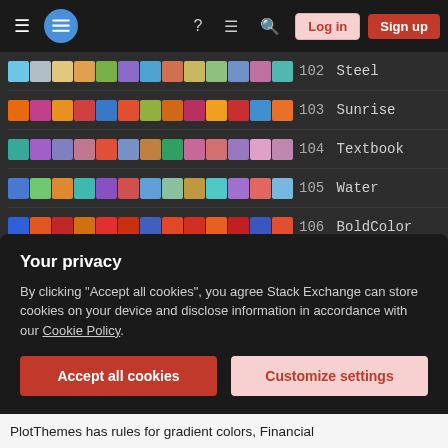Stack Exchange navigation bar with Log in and Sign up buttons
102 Steel - color palette row
103 Sunrise - color palette row
104 Textbook - color palette row
105 Water - color palette row
106 BoldColor - color palette row
107 CoolColor - color palette row
108 DarkColor - color palette row
109 MarketingColor - color palette row
109 NeonColor - color palette row
110 PastelColor - color palette row
111 RoyalColor - color palette row
112 VibrantColor - color palette row
Your privacy
By clicking "Accept all cookies", you agree Stack Exchange can store cookies on your device and disclose information in accordance with our Cookie Policy.
Accept all cookies | Customize settings
PlotThemes has rules for gradient colors, Financial